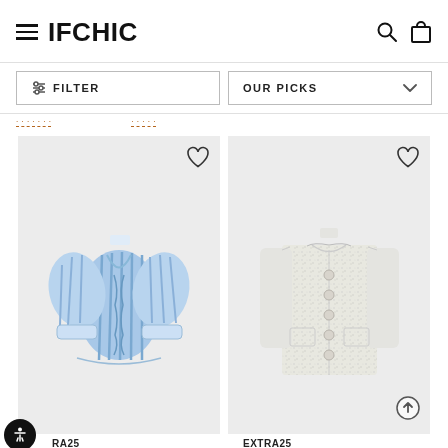IFCHIC
FILTER
OUR PICKS
[Figure (photo): Blue striped ruched front blouse with puffed long sleeves on gray background]
[Figure (photo): White/cream tweed button-front jacket on gray background]
EXTRA25
EXTRA25